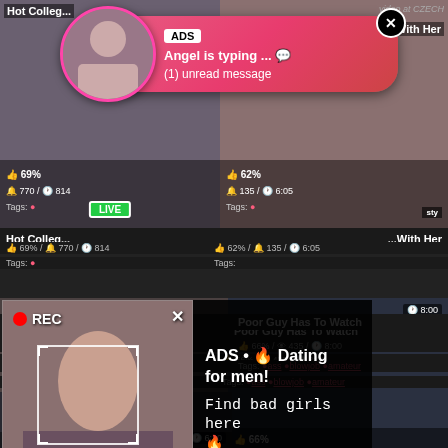[Figure (screenshot): Adult video website screenshot with two ad popups overlaid. Top popup: messenger-style ad with avatar, 'ADS', 'Angel is typing ... 💬', '(1) unread message'. Center overlay: recording-style ad with woman selfie photo, REC badge, face detection box, and dark panel reading 'ADS • 🔥 Dating for men! Find bad girls here 🔥'. Video thumbnails visible in background with titles 'Blonde Shemale Gianna Rivera' (71%, 177 views, 5:47) and 'Poor Guy Has To Watch' (66%, 435 views, 8:00) with tags.]